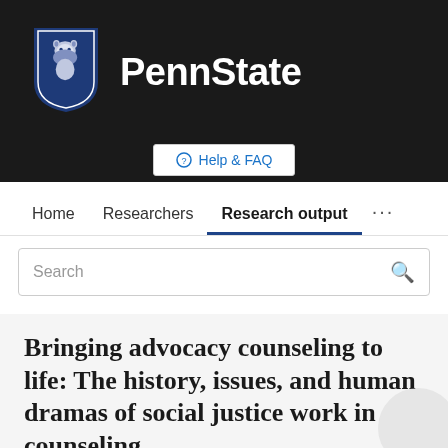[Figure (logo): Penn State University logo with lion shield on dark background header]
Help & FAQ
Home   Researchers   Research output   ...
Search
Bringing advocacy counseling to life: The history, issues, and human dramas of social justice work in counseling